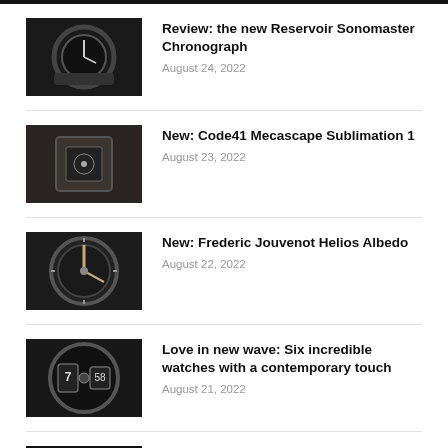Review: the new Reservoir Sonomaster Chronograph
August 24, 2022
New: Code41 Mecascape Sublimation 1
August 23, 2022
New: Frederic Jouvenot Helios Albedo
August 22, 2022
Love in new wave: Six incredible watches with a contemporary touch
August 21, 2022
Review: HYT revives with the new Moon